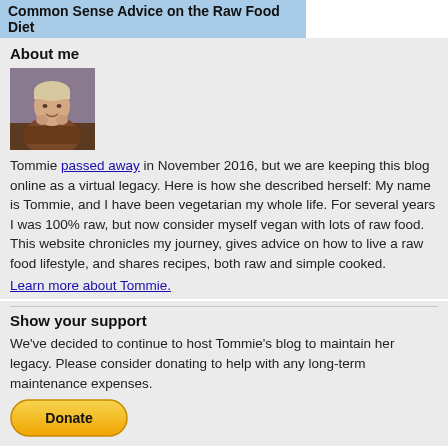Common Sense Advice on the Raw Food Diet
About me
[Figure (photo): A photo of Tommie, a woman with short blonde hair, smiling, wearing a brown coat, posed indoors.]
Tommie passed away in November 2016, but we are keeping this blog online as a virtual legacy. Here is how she described herself: My name is Tommie, and I have been vegetarian my whole life. For several years I was 100% raw, but now consider myself vegan with lots of raw food. This website chronicles my journey, gives advice on how to live a raw food lifestyle, and shares recipes, both raw and simple cooked.
Learn more about Tommie.
Show your support
We've decided to continue to host Tommie's blog to maintain her legacy. Please consider donating to help with any long-term maintenance expenses.
[Figure (other): A PayPal Donate button with yellow rounded rectangle background and bold black text reading 'Donate'.]